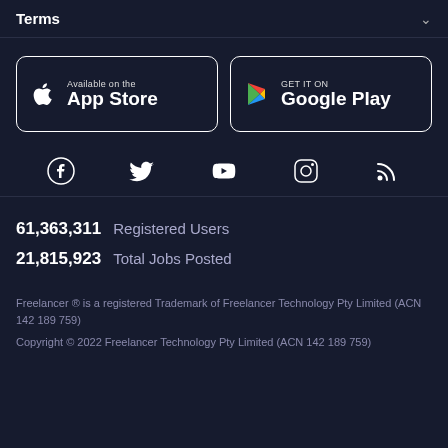Terms
[Figure (logo): App Store and Google Play store download buttons side by side]
[Figure (infographic): Social media icons row: Facebook, Twitter, YouTube, Instagram, RSS]
61,363,311 Registered Users
21,815,923 Total Jobs Posted
Freelancer ® is a registered Trademark of Freelancer Technology Pty Limited (ACN 142 189 759)
Copyright © 2022 Freelancer Technology Pty Limited (ACN 142 189 759)